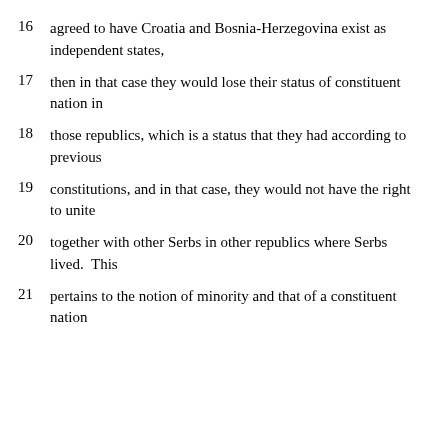16   agreed to have Croatia and Bosnia-Herzegovina exist as independent states,
17   then in that case they would lose their status of constituent nation in
18   those republics, which is a status that they had according to previous
19   constitutions, and in that case, they would not have the right to unite
20   together with other Serbs in other republics where Serbs lived.  This
21   pertains to the notion of minority and that of a constituent nation